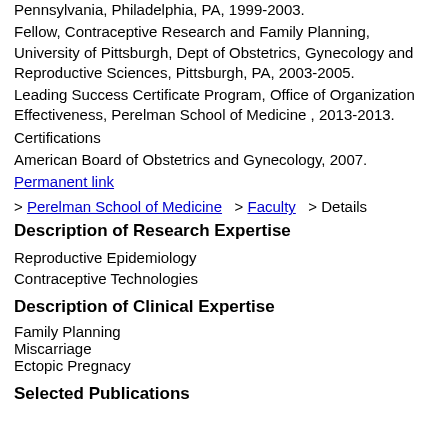Pennsylvania, Philadelphia, PA, 1999-2003.
Fellow, Contraceptive Research and Family Planning, University of Pittsburgh, Dept of Obstetrics, Gynecology and Reproductive Sciences, Pittsburgh, PA, 2003-2005.
Leading Success Certificate Program, Office of Organization Effectiveness, Perelman School of Medicine , 2013-2013.
Certifications
American Board of Obstetrics and Gynecology, 2007.
Permanent link
> Perelman School of Medicine  > Faculty  > Details
Description of Research Expertise
Reproductive Epidemiology
Contraceptive Technologies
Description of Clinical Expertise
Family Planning
Miscarriage
Ectopic Pregnacy
Selected Publications